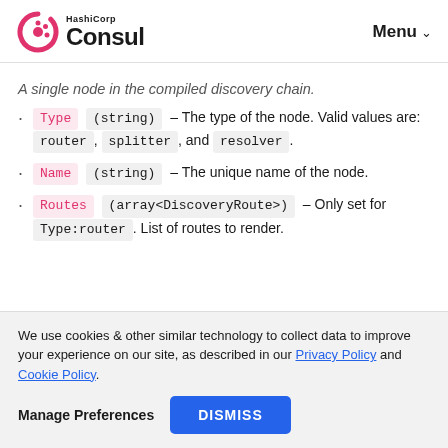HashiCorp Consul | Menu
A single node in the compiled discovery chain.
Type (string) - The type of the node. Valid values are: router, splitter, and resolver.
Name (string) - The unique name of the node.
Routes (array<DiscoveryRoute>) - Only set for Type:router. List of routes to render.
We use cookies & other similar technology to collect data to improve your experience on our site, as described in our Privacy Policy and Cookie Policy.
Manage Preferences   DISMISS